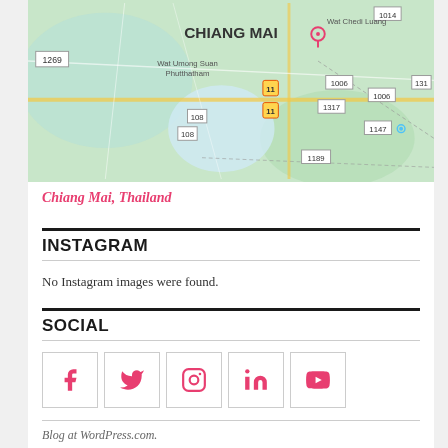[Figure (map): Google Maps screenshot showing Chiang Mai, Thailand with road numbers 1269, 1014, 1006, 1317, 131, 1189, 1147, 108, and landmarks Wat Chedi Luang, Wat Umong Suan Phutthatham]
Chiang Mai, Thailand
INSTAGRAM
No Instagram images were found.
SOCIAL
[Figure (infographic): Social media icons row: Facebook, Twitter, Instagram, LinkedIn, YouTube — each in a bordered square box, pink/red color]
Blog at WordPress.com.